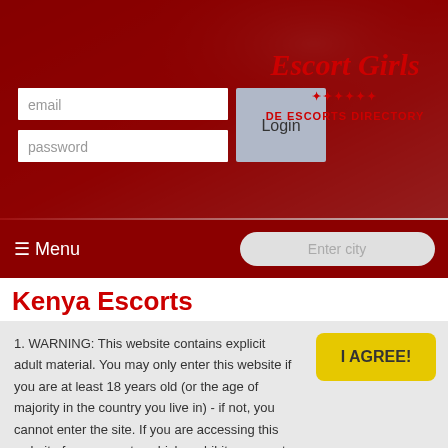[Figure (screenshot): Website header with dark red background, login form with email and password fields and Login button, and site branding reading 'Escort Girls' in red italic script with 'DE ESCORTS DIRECTORY' below]
email
password
Login
≡ Menu
Enter city
Kenya Escorts
1. WARNING: This website contains explicit adult material. You may only enter this website if you are at least 18 years old (or the age of majority in the country you live in) - if not, you cannot enter the site. If you are accessing this website from a country which prohibits access to adult content or any associated activities, you do so at your own risk. It is your responsibility to comply to local laws.
2. We use cookies to enhance your experience. By continuing to visit this site you agree to our use of cookies. More info